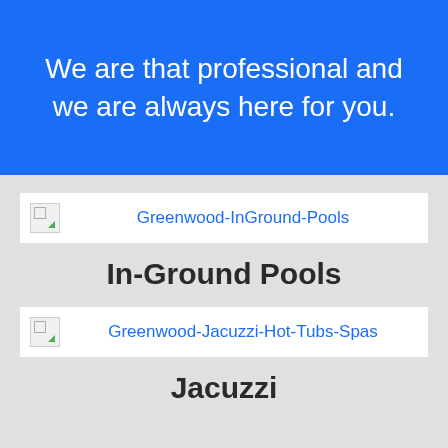We are that professional and we are always here for you.
[Figure (illustration): Broken image placeholder with icon for Greenwood-InGround-Pools]
Greenwood-InGround-Pools
In-Ground Pools
[Figure (illustration): Broken image placeholder with icon for Greenwood-Jacuzzi-Hot-Tubs-Spas]
Greenwood-Jacuzzi-Hot-Tubs-Spas
Jacuzzi